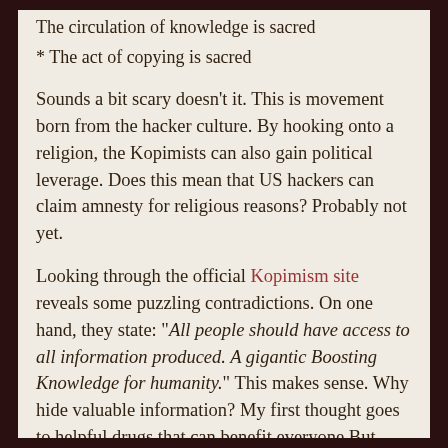The circulation of knowledge is sacred
* The act of copying is sacred
Sounds a bit scary doesn't it. This is movement born from the hacker culture. By hooking onto a religion, the Kopimists can also gain political leverage. Does this mean that US hackers can claim amnesty for religious reasons? Probably not yet.
Looking through the official Kopimism site reveals some puzzling contradictions. On one hand, they state: “All people should have access to all information produced. A gigantic Boosting Knowledge for humanity.” This makes sense. Why hide valuable information? My first thought goes to helpful drugs that can benefit everyone.But then I spot this a few lines down: “The absolute secrecy is holy in the church of kopimism.” Doesn’t this